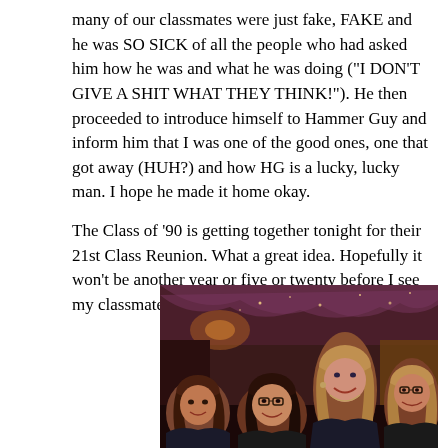many of our classmates were just fake, FAKE and he was SO SICK of all the people who had asked him how he was and what he was doing ("I DON'T GIVE A SHIT WHAT THEY THINK!").  He then proceeded to introduce himself to Hammer Guy and inform him that I was one of the good ones, one that got away (HUH?) and how HG is a lucky, lucky man.  I hope he made it home okay.
The Class of '90 is getting together tonight for their 21st Class Reunion.  What a great idea.  Hopefully it won't be another year or five or twenty before I see my classmates again.
[Figure (photo): A group photo of four women smiling at what appears to be a class reunion event. The venue has decorative draping and warm lighting in the background. The women are dressed in dark clothing.]